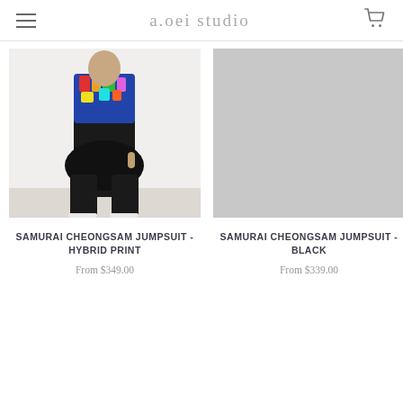a.oei studio
[Figure (photo): Fashion product photo: person wearing colorful floral top and black drop-crotch harem jumpsuit with white ankle boots, standing against white wall]
SAMURAI CHEONGSAM JUMPSUIT - HYBRID PRINT
From $349.00
[Figure (photo): Gray placeholder image for product: Samurai Cheongsam Jumpsuit - Black]
SAMURAI CHEONGSAM JUMPSUIT - BLACK
From $339.00